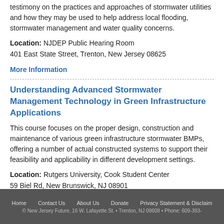testimony on the practices and approaches of stormwater utilities and how they may be used to help address local flooding, stormwater management and water quality concerns.
Location: NJDEP Public Hearing Room 401 East State Street, Trenton, New Jersey 08625
More Information
Understanding Advanced Stormwater Management Technology in Green Infrastructure Applications
This course focuses on the proper design, construction and maintenance of various green infrastructure stormwater BMPs, offering a number of actual constructed systems to support their feasibility and applicability in different development settings.
Location: Rutgers University, Cook Student Center 59 Biel Rd, New Brunswick, NJ 08901
Registration and More Information
Home   Contact Us   About Us   Donate   Privacy Statement & Disclaimer
© New Jersey Future, 16 W. Lafayette St. • Trenton, NJ 08608 • Phone: 609-393-...